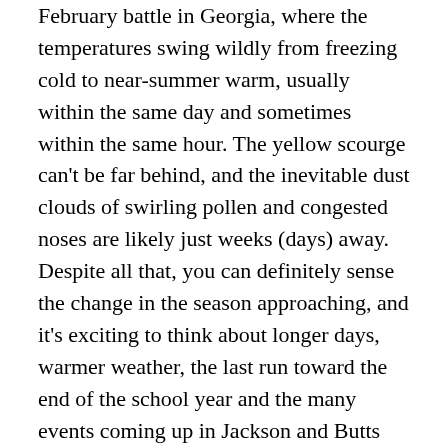February battle in Georgia, where the temperatures swing wildly from freezing cold to near-summer warm, usually within the same day and sometimes within the same hour. The yellow scourge can't be far behind, and the inevitable dust clouds of swirling pollen and congested noses are likely just weeks (days) away. Despite all that, you can definitely sense the change in the season approaching, and it's exciting to think about longer days, warmer weather, the last run toward the end of the school year and the many events coming up in Jackson and Butts County.
Some of the biggest annual events of the year happen in spring, including the Annual Chamber of Commerce Awards Banquet on March 10th, the Bluebirds and Bluegrass Festival on April 23rd, the Annual Fine Arts Festival on May 7th and the Chamber Golf Tournament on